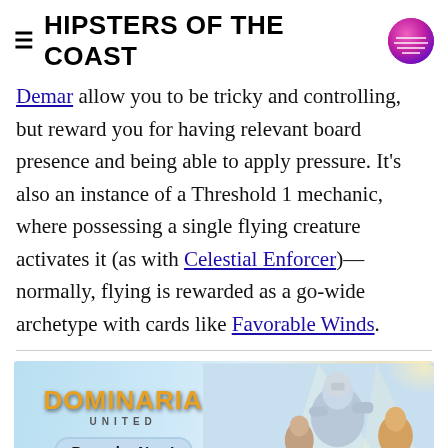HIPSTERS OF THE COAST
Demar allow you to be tricky and controlling, but reward you for having relevant board presence and being able to apply pressure. It's also an instance of a Threshold 1 mechanic, where possessing a single flying creature activates it (as with Celestial Enforcer)—normally, flying is rewarded as a go-wide archetype with cards like Favorable Winds.
[Figure (illustration): Dominaria United Preorder Now! advertisement banner with fantasy game artwork showing armored characters]